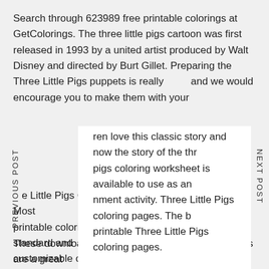Search through 623989 free printable colorings at GetColorings. The three little pigs cartoon was first released in 1993 by a united artist produced by Walt Disney and directed by Burt Gillet. Preparing the Three Little Pigs puppets is really easy and we would encourage you to make them with your
ren love this classic story and now the story of the three pigs coloring worksheet is available to use as an ment activity. Three Little Pigs coloring pages. The b printable Three Little Pigs coloring pages.
e Little Pigs Coloring In Case Of Indoor Recess. Most printable coloring pages come with a range of standard and customizable colors to offer the greatest flexibility to the user. I hope your kids enjoyed these three little pigs coloring page.
These downloadable Three Little Pigs coloring pages are a great way for kids to keep themselves entertained while boosting